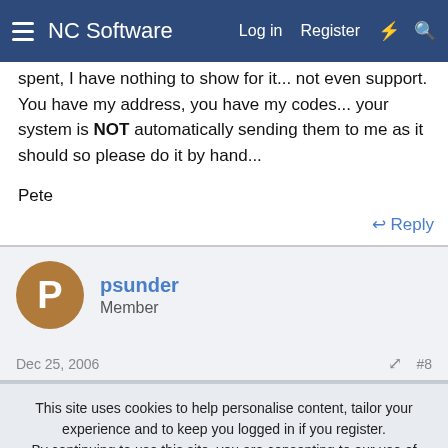NC Software | Log in | Register
spent, I have nothing to show for it... not even support. You have my address, you have my codes... your system is NOT automatically sending them to me as it should so please do it by hand...
Pete
Reply
psunder
Member
Dec 25, 2006
#8
This site uses cookies to help personalise content, tailor your experience and to keep you logged in if you register.
By continuing to use this site, you are consenting to our use of cookies.
Accept
Learn more...